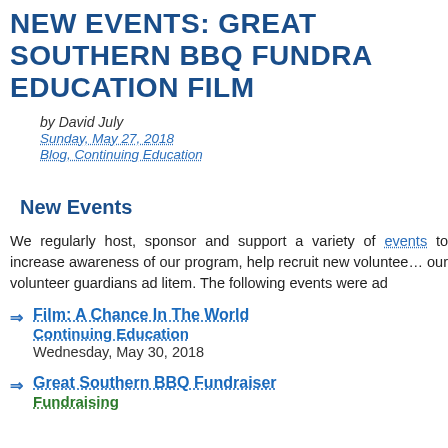NEW EVENTS: GREAT SOUTHERN BBQ FUNDRAISER CONTINUING EDUCATION FILM
by David July
Sunday, May 27, 2018
Blog, Continuing Education
New Events
We regularly host, sponsor and support a variety of events to increase awareness of our program, help recruit new volunteers and our volunteer guardians ad litem. The following events were ad
Film: A Chance In The World Continuing Education Wednesday, May 30, 2018
Great Southern BBQ Fundraiser Fundraising